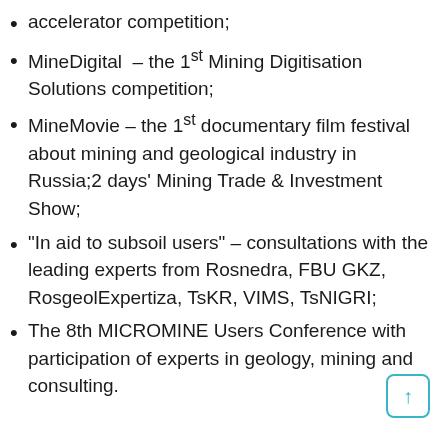accelerator competition;
MineDigital – the 1st Mining Digitisation Solutions competition;
MineMovie – the 1st documentary film festival about mining and geological industry in Russia;2 days' Mining Trade & Investment Show;
“In aid to subsoil users” – consultations with the leading experts from Rosnedra, FBU GKZ, RosgeolExpertiza, TsKR, VIMS, TsNIGRI;
The 8th MICROMINE Users Conference with participation of experts in geology, mining and consulting.